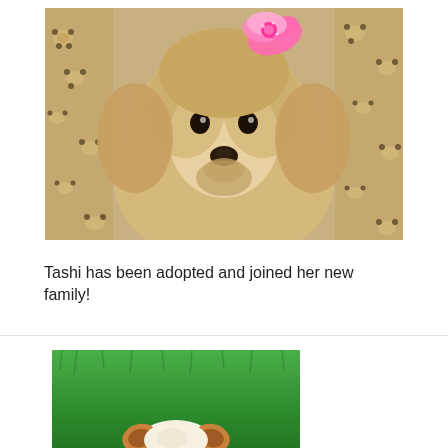[Figure (photo): A Shih Tzu dog with a pink flower bow on its head, sitting on a leopard-print blanket, looking directly at the camera.]
Tashi has been adopted and joined her new family!
[Figure (photo): A small dog seen from above on a green grass surface, only the top of its head and ears visible.]